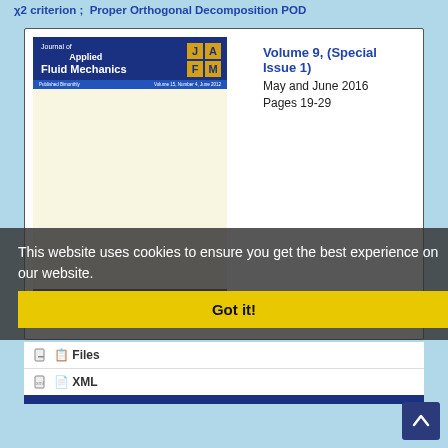χ2 criterion ;  Proper Orthogonal Decomposition POD
[Figure (illustration): Cover of Journal of Applied Fluid Mechanics, Volume 9 Special Issue 1]
Volume 9, (Special Issue 1)
May and June 2016
Pages 19-29
This website uses cookies to ensure you get the best experience on our website.
Got it!
Files
XML